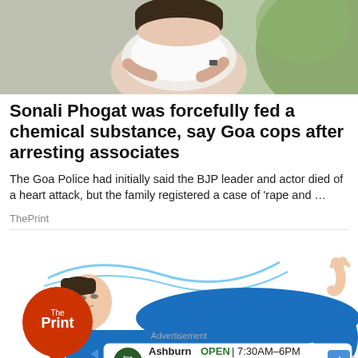[Figure (photo): Top portion of a photo showing a person with dark hair holding something white, with green background]
Sonali Phogat was forcefully fed a chemical substance, say Goa cops after arresting associates
The Goa Police had initially said the BJP leader and actor died of a heart attack, but the family registered a case of ‘rape and …
ThePrint
[Figure (illustration): Illustration of a person lying down in blue clothing with The Print logo (red circle with white text), alongside an advertisement bar showing Ashburn auto service: OPEN 7:30AM-6PM, 43781 Parkhurst Plaza, Ashburn]